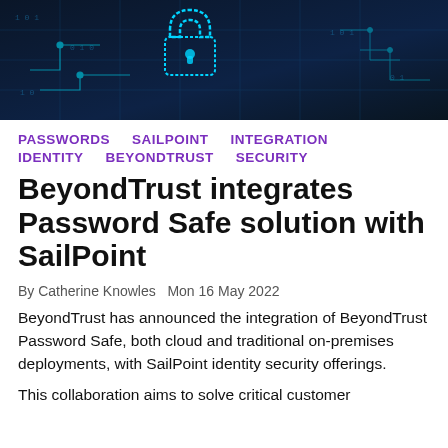[Figure (photo): Dark blue technology/cybersecurity themed banner image with circuit board patterns and a glowing padlock icon in the upper portion]
PASSWORDS
SAILPOINT
INTEGRATION
IDENTITY
BEYONDTRUST
SECURITY
BeyondTrust integrates Password Safe solution with SailPoint
By Catherine Knowles  Mon 16 May 2022
BeyondTrust has announced the integration of BeyondTrust Password Safe, both cloud and traditional on-premises deployments, with SailPoint identity security offerings.
This collaboration aims to solve critical customer